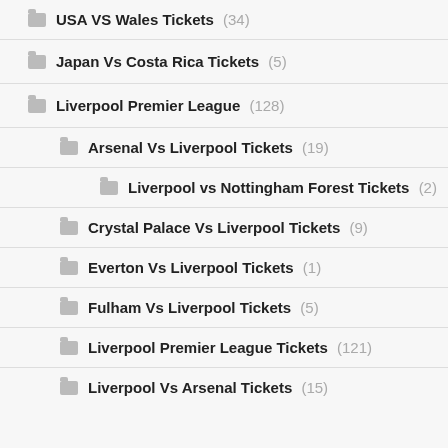USA VS Wales Tickets (34)
Japan Vs Costa Rica Tickets (5)
Liverpool Premier League (128)
Arsenal Vs Liverpool Tickets (19)
Liverpool vs Nottingham Forest Tickets (2)
Crystal Palace Vs Liverpool Tickets (9)
Everton Vs Liverpool Tickets (1)
Fulham Vs Liverpool Tickets (5)
Liverpool Premier League Tickets (121)
Liverpool Vs Arsenal Tickets (15)